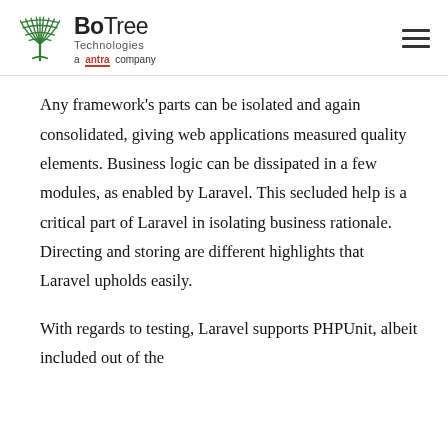BoTree Technologies — a antra company
Any framework's parts can be isolated and again consolidated, giving web applications measured quality elements. Business logic can be dissipated in a few modules, as enabled by Laravel. This secluded help is a critical part of Laravel in isolating business rationale. Directing and storing are different highlights that Laravel upholds easily.
With regards to testing, Laravel supports PHPUnit, albeit included out of the